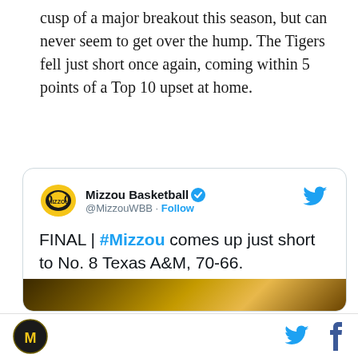cusp of a major breakout this season, but can never seem to get over the hump. The Tigers fell just short once again, coming within 5 points of a Top 10 upset at home.
[Figure (screenshot): Embedded tweet from Mizzou Basketball (@MizzouWBB): 'FINAL | #Mizzou comes up just short to No. 8 Texas A&M, 70-66. Back in action Thursday at Florida. #OurTownOurTeam [tiger emoji][basketball emoji]' with a partial image below.]
Mizzou logo icon | Twitter bird icon | Facebook f icon